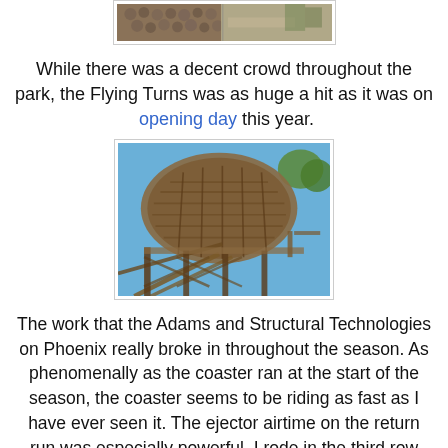[Figure (photo): Top portion of a wooden roller coaster structure with spherical/textured elements visible, outdoor setting]
While there was a decent crowd throughout the park, the Flying Turns was as huge a hit as it was on opening day this year.
[Figure (photo): Close-up view of wooden roller coaster structure from below showing wooden support beams forming a dome/barrel shape against blue sky with trees]
The work that the Adams and Structural Technologies on Phoenix really broke in throughout the season. As phenomenally as the coaster ran at the start of the season, the coaster seems to be riding as fast as I have ever seen it. The ejector airtime on the return run was especially powerful. I rode in the third row "Schmeck Seat," the seat that many